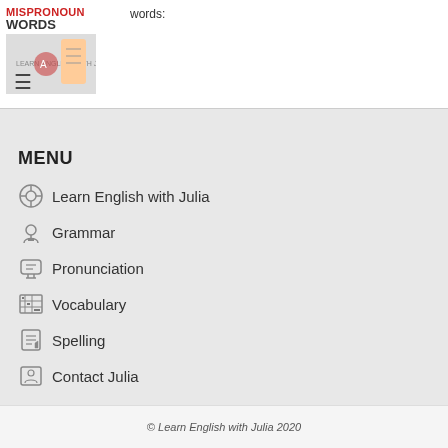MISPRONOUNCED WORDS
words:
MENU
Learn English with Julia
Grammar
Pronunciation
Vocabulary
Spelling
Contact Julia
Privacy Policy
© Learn English with Julia 2020